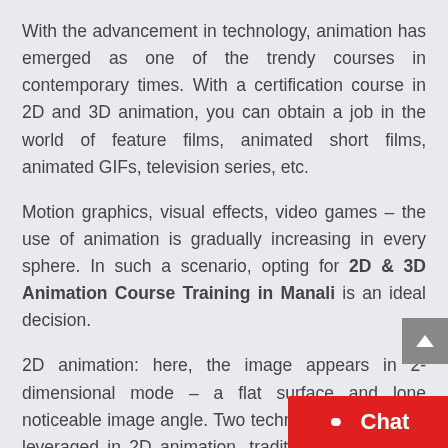With the advancement in technology, animation has emerged as one of the trendy courses in contemporary times. With a certification course in 2D and 3D animation, you can obtain a job in the world of feature films, animated short films, animated GIFs, television series, etc.
Motion graphics, visual effects, video games – the use of animation is gradually increasing in every sphere. In such a scenario, opting for 2D & 3D Animation Course Training in Manali is an ideal decision.
2D animation: here, the image appears in 2-dimensional mode – a flat surface and lone noticeable image angle. Two techniques are usually leveraged in 2D animation. traditional hand-drawn image gets rapidly